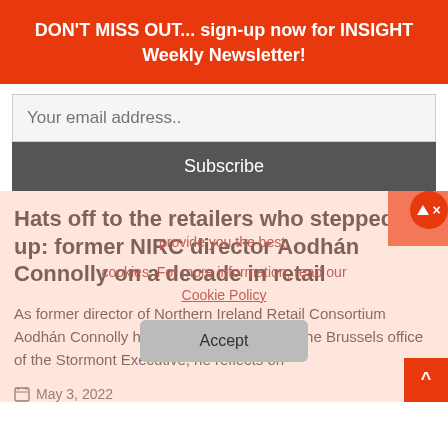DON'T MISS OUT... sign-up now for INSIGHT Weekly Newsletter!
Your email address..
Subscribe
Hats off to the retailers who stepped up: former NIRC director Aodhán Connolly on a decade in retail
As former director of Northern Ireland Retail Consortium Aodhán Connolly heads for Europe to lead the Brussels office of the Stormont Executive, he reflects on
May 3, 2022
provide you the best.
cookies. For more information, read our Cookie Policy
Accept